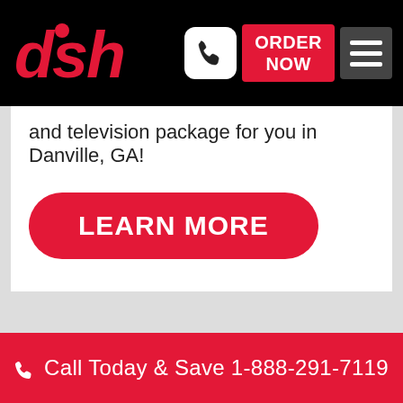DISH - ORDER NOW
and television package for you in Danville, GA!
LEARN MORE
INTERNET PROVIDERS
Call Today & Save 1-888-291-7119